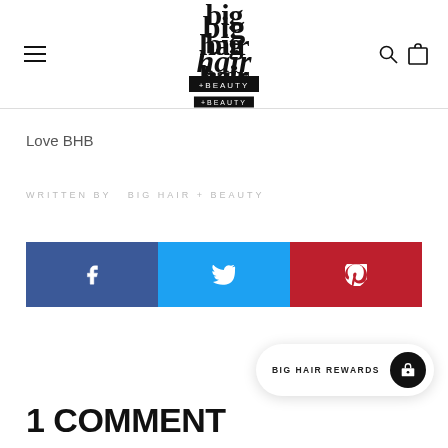[Figure (logo): Big Hair + Beauty logo with stylized serif text and '+BEAUTY' in a black box underneath]
Love BHB
WRITTEN BY  BIG HAIR + BEAUTY
[Figure (infographic): Social share buttons: Facebook (blue), Twitter (cyan), Pinterest (red) with respective icons]
[Figure (other): BIG HAIR REWARDS button with circular dark icon]
1 COMMENT